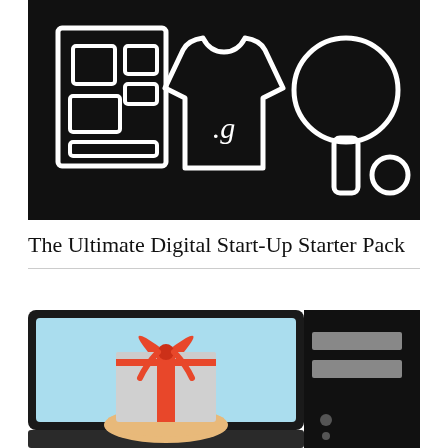[Figure (illustration): Black background banner with three white line-art icons: a kanban/pinboard with sticky notes on the left, a t-shirt with '.g' text in the center, and a ping pong paddle with ball on the right.]
The Ultimate Digital Start-Up Starter Pack
[Figure (illustration): Two images side by side: left shows a laptop screen displaying a hand holding up a gift box with red ribbon on a light blue background; right shows a partial view of a black desktop computer tower with grey drive bays.]